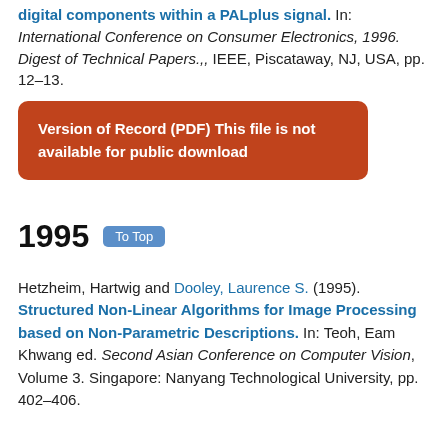digital components within a PALplus signal. In: International Conference on Consumer Electronics, 1996. Digest of Technical Papers.,, IEEE, Piscataway, NJ, USA, pp. 12–13.
Version of Record (PDF) This file is not available for public download
1995
Hetzheim, Hartwig and Dooley, Laurence S. (1995). Structured Non-Linear Algorithms for Image Processing based on Non-Parametric Descriptions. In: Teoh, Eam Khwang ed. Second Asian Conference on Computer Vision, Volume 3. Singapore: Nanyang Technological University, pp. 402–406.